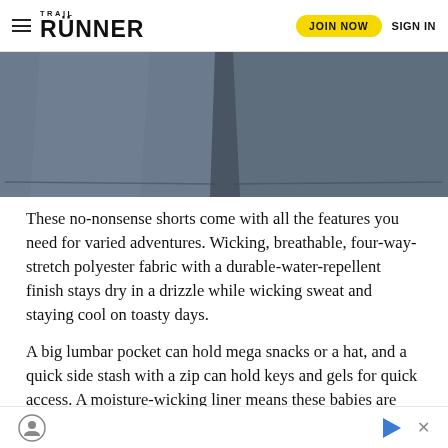Trail Runner — JOIN NOW  SIGN IN
[Figure (photo): Bottom portion of dark blue/grey running shorts on white background, showing the hem and leg openings.]
These no-nonsense shorts come with all the features you need for varied adventures. Wicking, breathable, four-way-stretch polyester fabric with a durable-water-repellent finish stays dry in a drizzle while wicking sweat and staying cool on toasty days.
A big lumbar pocket can hold mega snacks or a hat, and a quick side stash with a zip can hold keys and gels for quick access. A moisture-wicking liner means these babies are built to go to the distance in comfort.